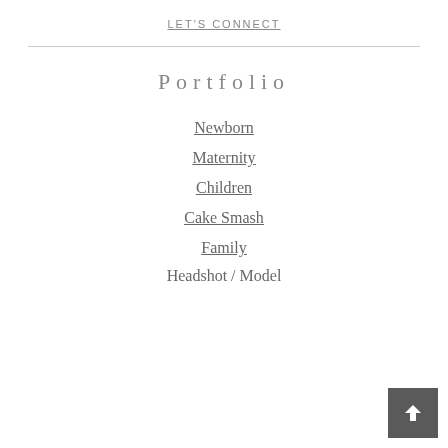LET'S CONNECT
Portfolio
Newborn
Maternity
Children
Cake Smash
Family
Headshot / Model